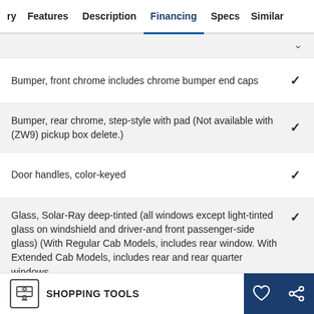ry   Features   Description   Financing   Specs   Similar
Bumper, front chrome includes chrome bumper end caps
Bumper, rear chrome, step-style with pad (Not available with (ZW9) pickup box delete.)
Door handles, color-keyed
Glass, Solar-Ray deep-tinted (all windows except light-tinted glass on windshield and driver-and front passenger-side glass) (With Regular Cab Models, includes rear window. With Extended Cab Models, includes rear and rear quarter windows.
SHOPPING TOOLS